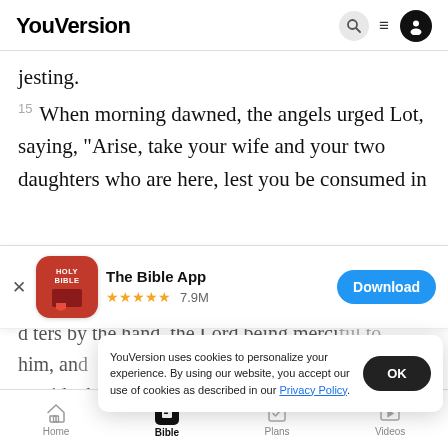YouVersion
jesting.
15 When morning dawned, the angels urged Lot, saying, “Arise, take your wife and your two daughters who are here, lest you be consumed in
[Figure (screenshot): App download banner for The Bible App showing app icon, 5-star rating of 7.9M, and Download button]
daughters by the hand, the Lord being merciful to him, and they brought him outside the city. And when they had brought
YouVersion uses cookies to personalize your experience. By using our website, you accept our use of cookies as described in our Privacy Policy.
Home | Bible | Plans | Videos